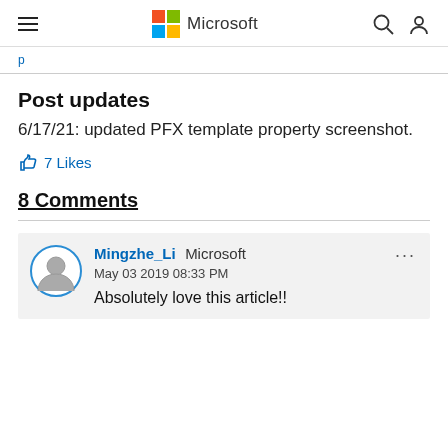Microsoft
Post updates
6/17/21: updated PFX template property screenshot.
7 Likes
8 Comments
Mingzhe_Li Microsoft
May 03 2019 08:33 PM
Absolutely love this article!!